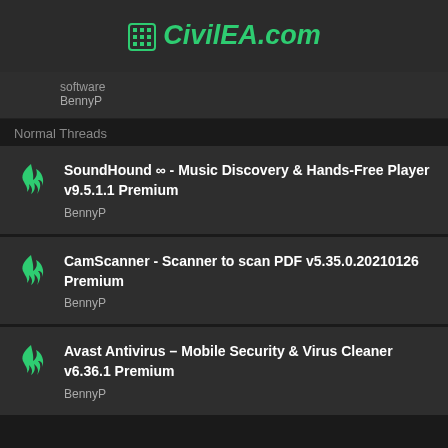CivilEA.com
BennyP
Normal Threads
SoundHound ∞ - Music Discovery & Hands-Free Player v9.5.1.1 Premium
BennyP
CamScanner - Scanner to scan PDF v5.35.0.20210126 Premium
BennyP
Avast Antivirus – Mobile Security & Virus Cleaner v6.36.1 Premium
BennyP